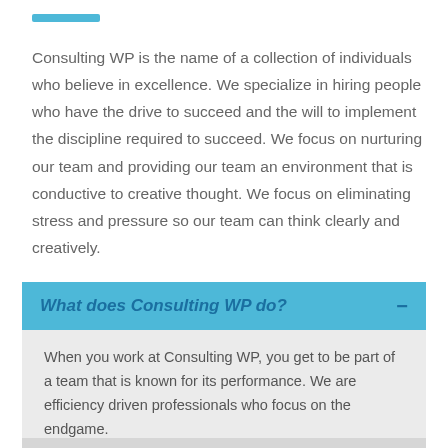Consulting WP is the name of a collection of individuals who believe in excellence. We specialize in hiring people who have the drive to succeed and the will to implement the discipline required to succeed. We focus on nurturing our team and providing our team an environment that is conductive to creative thought. We focus on eliminating stress and pressure so our team can think clearly and creatively.
What does Consulting WP do?
When you work at Consulting WP, you get to be part of a team that is known for its performance. We are efficiency driven professionals who focus on the endgame.